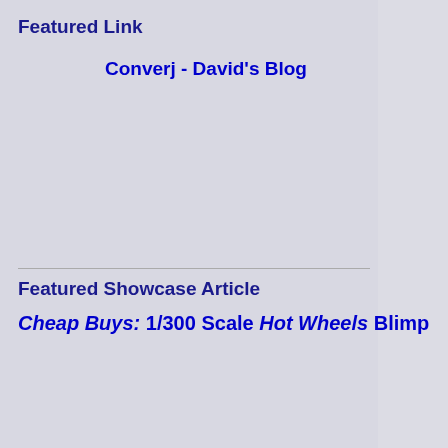Featured Link
Converj - David's Blog
Featured Showcase Article
Cheap Buys: 1/300 Scale Hot Wheels Blimp